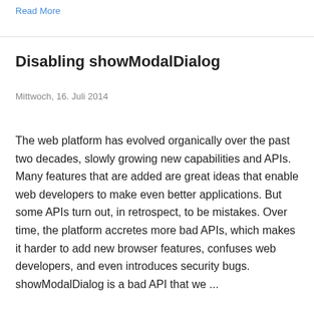Read More
Disabling showModalDialog
Mittwoch, 16. Juli 2014
The web platform has evolved organically over the past two decades, slowly growing new capabilities and APIs. Many features that are added are great ideas that enable web developers to make even better applications. But some APIs turn out, in retrospect, to be mistakes. Over time, the platform accretes more bad APIs, which makes it harder to add new browser features, confuses web developers, and even introduces security bugs. showModalDialog is a bad API that we ...